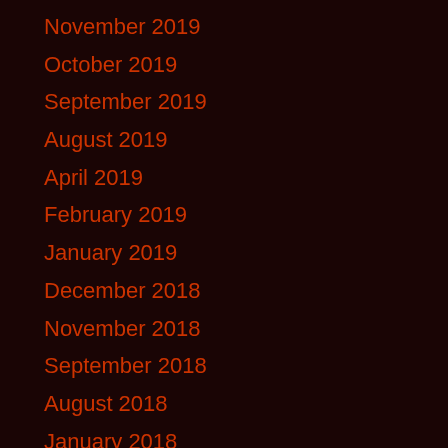November 2019
October 2019
September 2019
August 2019
April 2019
February 2019
January 2019
December 2018
November 2018
September 2018
August 2018
January 2018
November 2017
October 2017
September 2017